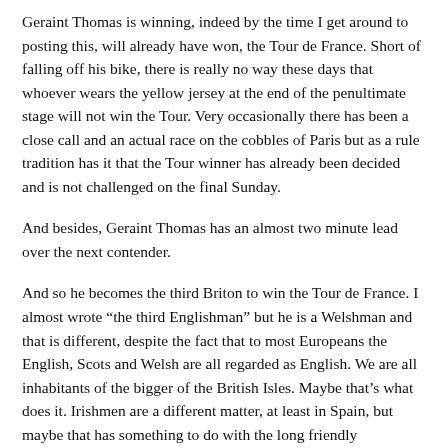Geraint Thomas is winning, indeed by the time I get around to posting this, will already have won, the Tour de France. Short of falling off his bike, there is really no way these days that whoever wears the yellow jersey at the end of the penultimate stage will not win the Tour. Very occasionally there has been a close call and an actual race on the cobbles of Paris but as a rule tradition has it that the Tour winner has already been decided and is not challenged on the final Sunday.
And besides, Geraint Thomas has an almost two minute lead over the next contender.
And so he becomes the third Briton to win the Tour de France. I almost wrote “the third Englishman” but he is a Welshman and that is different, despite the fact that to most Europeans the English, Scots and Welsh are all regarded as English. We are all inhabitants of the bigger of the British Isles. Maybe that’s what does it. Irishmen are a different matter, at least in Spain, but maybe that has something to do with the long friendly relationship that seems to exist